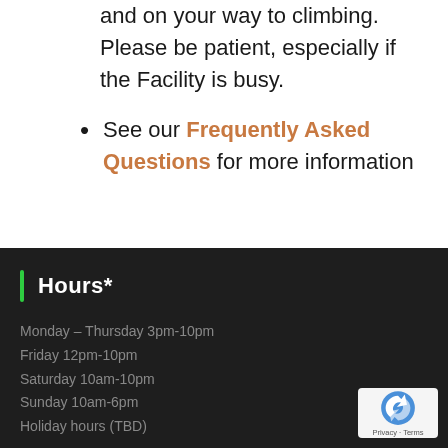and on your way to climbing. Please be patient, especially if the Facility is busy.
See our Frequently Asked Questions for more information
Hours*
Monday – Thursday 3pm-10pm
Friday 12pm-10pm
Saturday 10am-10pm
Sunday 10am-6pm
Holiday hours (TBD)